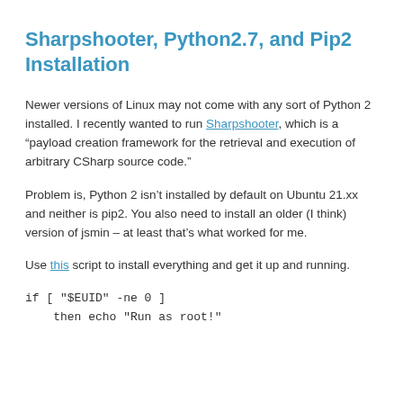Sharpshooter, Python2.7, and Pip2 Installation
Newer versions of Linux may not come with any sort of Python 2 installed. I recently wanted to run Sharpshooter, which is a “payload creation framework for the retrieval and execution of arbitrary CSharp source code.”
Problem is, Python 2 isn’t installed by default on Ubuntu 21.xx and neither is pip2. You also need to install an older (I think) version of jsmin – at least that’s what worked for me.
Use this script to install everything and get it up and running.
if [ "$EUID" -ne 0 ]
    then echo "Run as root!"